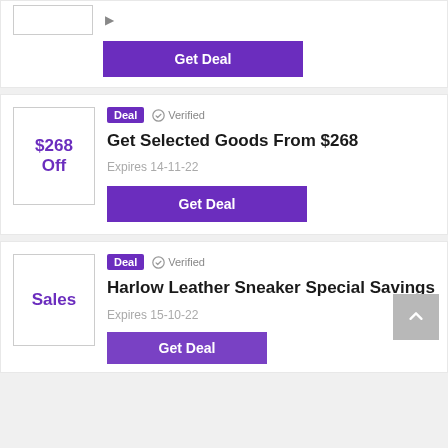[Figure (screenshot): Top partial deal card with a box stub and Get Deal button]
Get Deal
Deal  Verified
Get Selected Goods From $268
Expires 14-11-22
Get Deal
Deal  Verified
Harlow Leather Sneaker Special Savings
Expires 15-10-22